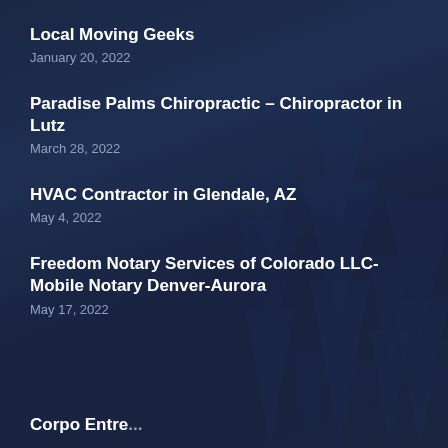Local Moving Geeks
January 20, 2022
Paradise Palms Chiropractic – Chiropractor in Lutz
March 28, 2022
HVAC Contractor in Glendale, AZ
May 4, 2022
Freedom Notary Services of Colorado LLC- Mobile Notary Denver-Aurora
May 17, 2022
Corpo Entre...